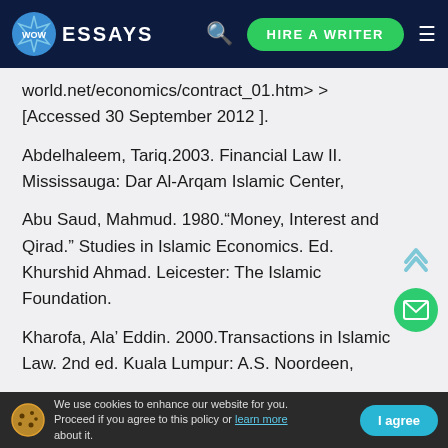WOW ESSAYS — HIRE A WRITER
world.net/economics/contract_01.htm> > [Accessed 30 September 2012 ].
Abdelhaleem, Tariq.2003. Financial Law II. Mississauga: Dar Al-Arqam Islamic Center,
Abu Saud, Mahmud. 1980.“Money, Interest and Qirad.” Studies in Islamic Economics. Ed. Khurshid Ahmad. Leicester: The Islamic Foundation.
Kharofa, Ala’ Eddin. 2000.Transactions in Islamic Law. 2nd ed. Kuala Lumpur: A.S. Noordeen,
We use cookies to enhance our website for you. Proceed if you agree to this policy or learn more about it. I agree